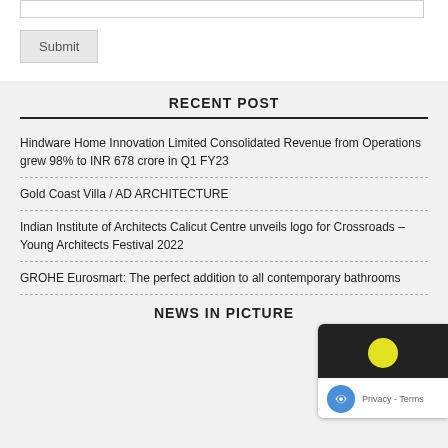[Figure (screenshot): A text input box (form field) at the top of the page]
Submit
RECENT POST
Hindware Home Innovation Limited Consolidated Revenue from Operations grew 98% to INR 678 crore in Q1 FY23
Gold Coast Villa / AD ARCHITECTURE
Indian Institute of Architects Calicut Centre unveils logo for Crossroads – Young Architects Festival 2022
GROHE Eurosmart: The perfect addition to all contemporary bathrooms
NEWS IN PICTURE